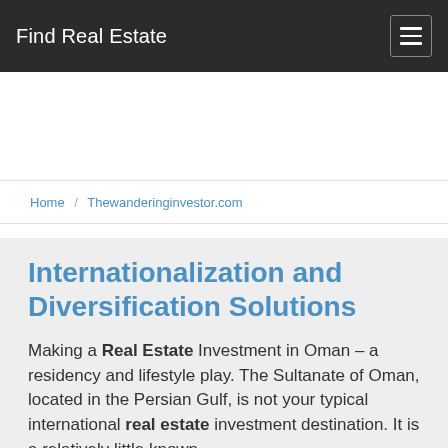Find Real Estate
Home / Thewanderinginvestor.com
Internationalization and Diversification Solutions
Making a Real Estate Investment in Oman – a residency and lifestyle play. The Sultanate of Oman, located in the Persian Gulf, is not your typical international real estate investment destination. It is a relatively little known…